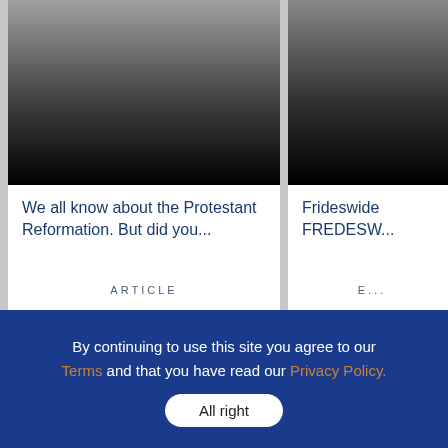[Figure (photo): Article card image with gradient overlay for 'The Protestants Who Came Before the Protestants']
The Protestants Who Came Before the Protestants
We all know about the Protestant Reformation. But did you...
ARTICLE
[Figure (photo): Partially visible article card image with gradient overlay for 'Fridesw...' article]
Fridesw...
Frideswide FREDESW...
E...
By continuing to use this site you agree to our Terms and that you have read our Privacy Policy.
All right